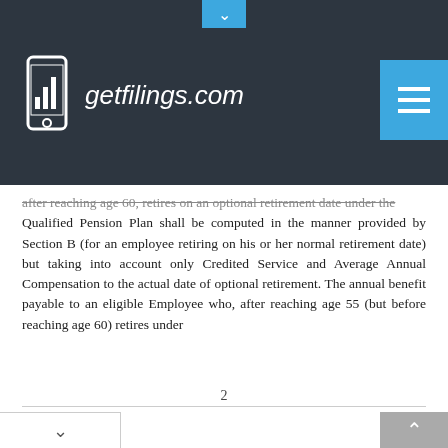getfilings.com
after reaching age 60, retires on an optional retirement date under the Qualified Pension Plan shall be computed in the manner provided by Section B (for an employee retiring on his or her normal retirement date) but taking into account only Credited Service and Average Annual Compensation to the actual date of optional retirement. The annual benefit payable to an eligible Employee who, after reaching age 55 (but before reaching age 60) retires under
2